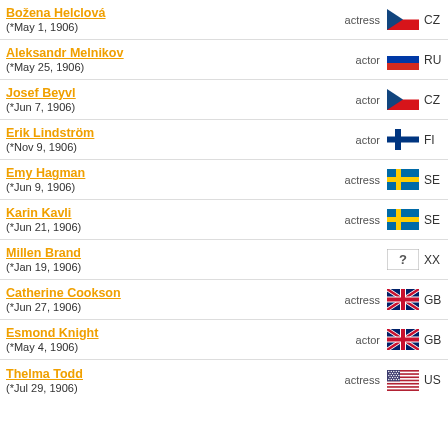Božena Helclová (*May 1, 1906) actress CZ
Aleksandr Melnikov (*May 25, 1906) actor RU
Josef Beyvl (*Jun 7, 1906) actor CZ
Erik Lindström (*Nov 9, 1906) actor FI
Emy Hagman (*Jun 9, 1906) actress SE
Karin Kavli (*Jun 21, 1906) actress SE
Millen Brand (*Jan 19, 1906) XX
Catherine Cookson (*Jun 27, 1906) actress GB
Esmond Knight (*May 4, 1906) actor GB
Thelma Todd (*Jul 29, 1906) actress US